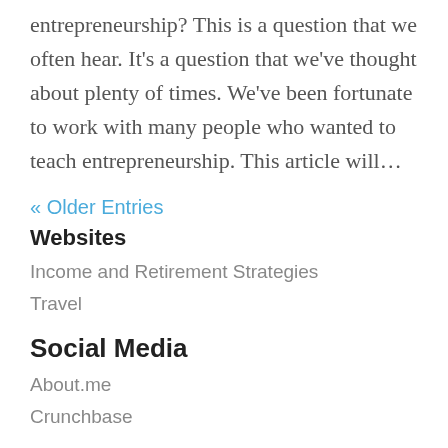entrepreneurship? This is a question that we often hear. It's a question that we've thought about plenty of times. We've been fortunate to work with many people who wanted to teach entrepreneurship. This article will…
« Older Entries
Websites
Income and Retirement Strategies
Travel
Social Media
About.me
Crunchbase